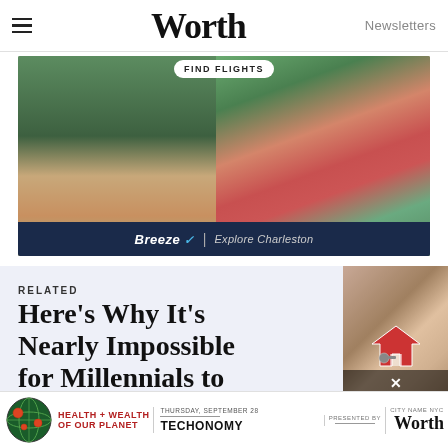Worth | Newsletters
[Figure (photo): Advertisement for Breeze airline featuring colorful Charleston historic row houses with palm trees. Shows 'FIND FLIGHTS' button at top and Breeze | Explore Charleston branding at bottom on dark navy bar.]
RELATED
Here's Why It's Nearly Impossible for Millennials to Buy a Home
[Figure (photo): Thumbnail image of a small toy house with keys, representing real estate / home buying difficulty. Has an X close button overlay at the bottom.]
[Figure (infographic): Bottom advertisement bar: Health + Wealth of Our Planet event. Thursday, September 28. Presented by Techonomy. City name NYC. Worth logo.]